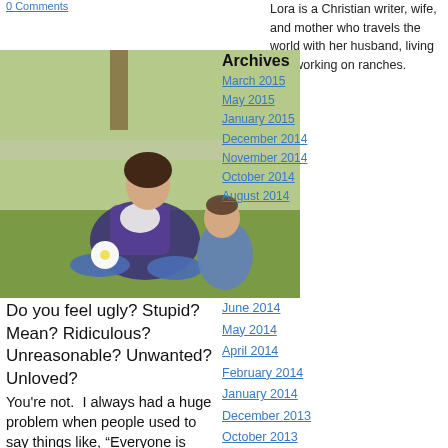0 Comments
Lora is a Christian writer, wife, and mother who travels the world with her husband, living and working on ranches.
[Figure (photo): Woman sitting on grass with a baby, outdoors near trees and a fence. The woman is wearing a purple top and jeans, holding a white flower.]
Archives
March 2015
May 2015
January 2015
December 2014
November 2014
October 2014
August 2014
June 2014
May 2014
April 2014
February 2014
January 2014
December 2013
October 2013
September 2013
Do you feel ugly? Stupid? Mean? Ridiculous? Unreasonable? Unwanted? Unloved?
You're not. I always had a huge problem when people used to say things like, "Everyone is beautiful"